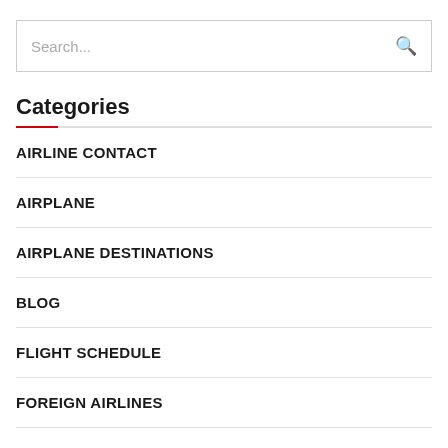[Figure (screenshot): Search input box with placeholder text 'Search...' and a search icon on the right]
Categories
AIRLINE CONTACT
AIRPLANE
AIRPLANE DESTINATIONS
BLOG
FLIGHT SCHEDULE
FOREIGN AIRLINES
HELICOPTER